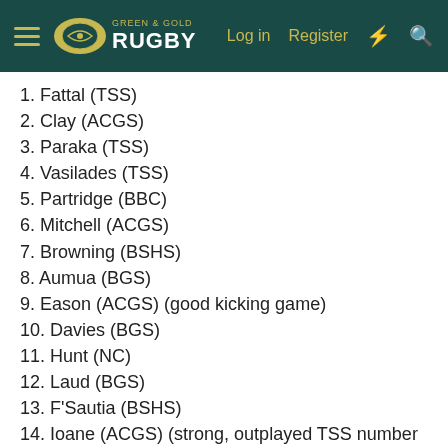Green & Gold Rugby — Log in  Register
1. Fattal (TSS)
2. Clay (ACGS)
3. Paraka (TSS)
4. Vasilades (TSS)
5. Partridge (BBC)
6. Mitchell (ACGS)
7. Browning (BSHS)
8. Aumua (BGS)
9. Eason (ACGS) (good kicking game)
10. Davies (BGS)
11. Hunt (NC)
12. Laud (BGS)
13. F'Sautia (BSHS)
14. Ioane (ACGS) (strong, outplayed TSS number 11 last weekend. 14 for tss is dempster.)
15. Bowen (IGS)
my only alterations. Surely state high or ippy have better props? i havent seen either team play but tss scrum has not been all